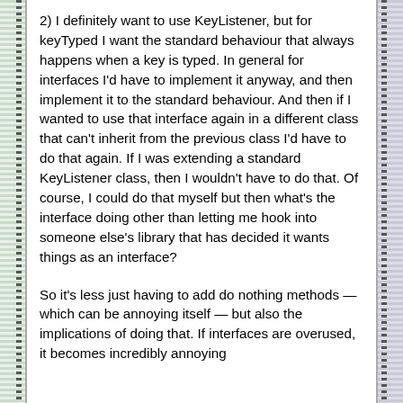2) I definitely want to use KeyListener, but for keyTyped I want the standard behaviour that always happens when a key is typed. In general for interfaces I'd have to implement it anyway, and then implement it to the standard behaviour. And then if I wanted to use that interface again in a different class that can't inherit from the previous class I'd have to do that again. If I was extending a standard KeyListener class, then I wouldn't have to do that. Of course, I could do that myself but then what's the interface doing other than letting me hook into someone else's library that has decided it wants things as an interface?
So it's less just having to add do nothing methods — which can be annoying itself — but also the implications of doing that. If interfaces are overused, it becomes incredibly annoying